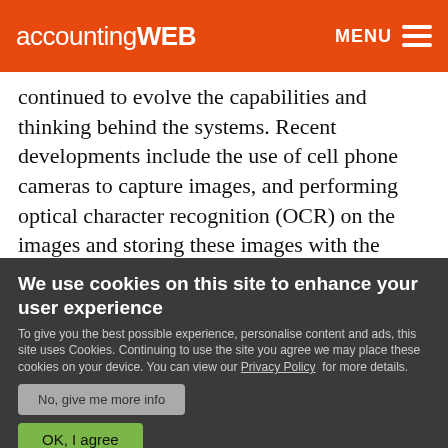accountingWEB   MENU
continued to evolve the capabilities and thinking behind the systems. Recent developments include the use of cell phone cameras to capture images, and performing optical character recognition (OCR) on the images and storing these images with the transaction, such as is frequently done in expense tracking products like:
We use cookies on this site to enhance your user experience
To give you the best possible experience, personalise content and ads, this site uses Cookies. Continuing to use the site you agree we may place these cookies on your device. You can view our Privacy Policy for more details.
No, give me more info
OK, I agree